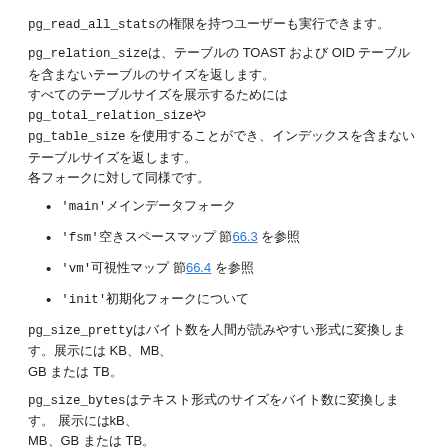pg_read_all_stats権限を持つユーザーも実行できます。
pg_relation_sizeはTOASTやOIDテーブルを含まないテーブルのサイズを返します。 TOASTを含む場合はpg_total_relation_sizeや pg_table_size を使用することができ、インデックスを含まない単純なテーブルサイズを返します。
'main'メインデータフォーク
'fsm'空きスペースマップ 節66.3を参照
'vm'可視性マップ 節66.4を参照
'init'初期化フォークについて
pg_size_prettyはバイト数を人間が読みやすい形式に変換します。 KB、MB、GB または TBなどの単位を使用します。
pg_size_bytesはテキスト形式のサイズをバイト数に変換します。 kB、MB、GB または TBなどの単位を使用します。